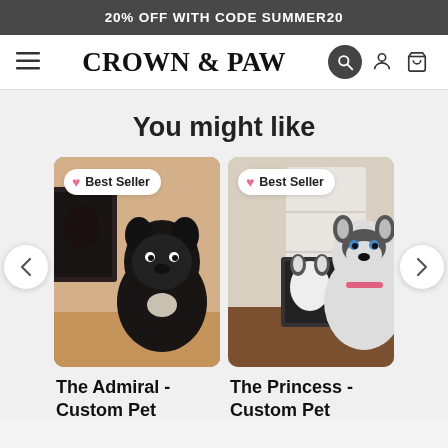20% OFF WITH CODE SUMMER20
CROWN & PAW
You might like
[Figure (photo): Photo of a black French Bulldog sitting in front of a custom pet portrait canvas on wood floor, with Best Seller badge overlay]
The Admiral - Custom Pet
[Figure (photo): Photo of a black and white Siberian Husky sitting next to a custom pet portrait canvas, with Best Seller badge overlay]
The Princess - Custom Pet